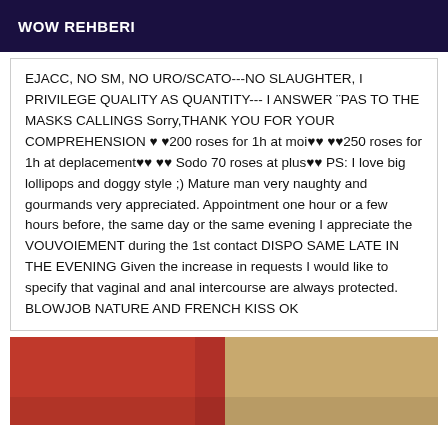WOW REHBERI
EJACC, NO SM, NO URO/SCATO---NO SLAUGHTER, I PRIVILEGE QUALITY AS QUANTITY--- I ANSWER ¨PAS TO THE MASKS CALLINGS Sorry,THANK YOU FOR YOUR COMPREHENSION ♥ ♥200 roses for 1h at moi♥♥ ♥♥250 roses for 1h at deplacement♥♥ ♥♥ Sodo 70 roses at plus♥♥ PS: I love big lollipops and doggy style ;) Mature man very naughty and gourmands very appreciated. Appointment one hour or a few hours before, the same day or the same evening I appreciate the VOUVOIEMENT during the 1st contact DISPO SAME LATE IN THE EVENING Given the increase in requests I would like to specify that vaginal and anal intercourse are always protected. BLOWJOB NATURE AND FRENCH KISS OK
[Figure (photo): Partial photo showing red clothing and skin/background texture]